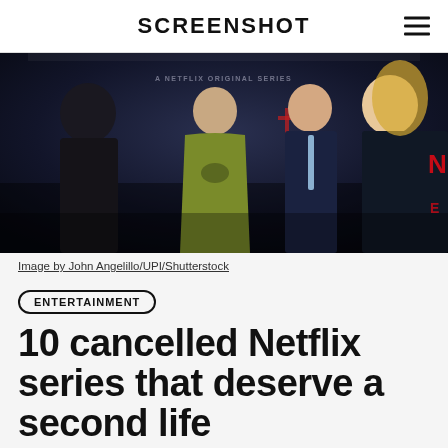SCREENSHOT
[Figure (photo): Three actors posing at a Netflix premiere event in front of a Daredevil promotional backdrop. A woman in an olive green halter dress stands center, a man in a navy suit to her right, and a blonde woman in a dark dress on the far right. The background shows a Netflix original series banner with city skyline imagery.]
Image by John Angelillo/UPI/Shutterstock
ENTERTAINMENT
10 cancelled Netflix series that deserve a second life